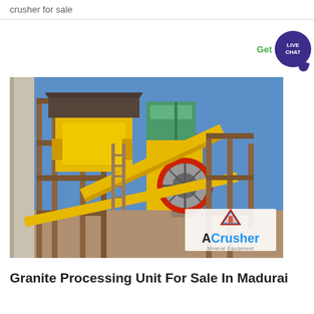crusher for sale
[Figure (photo): Industrial granite crushing plant machinery with yellow and brown metal framework structures, conveyors, and equipment against a blue sky, with ACrusher Mineral Equipment logo watermark in bottom right corner]
Granite Processing Unit For Sale In Madurai